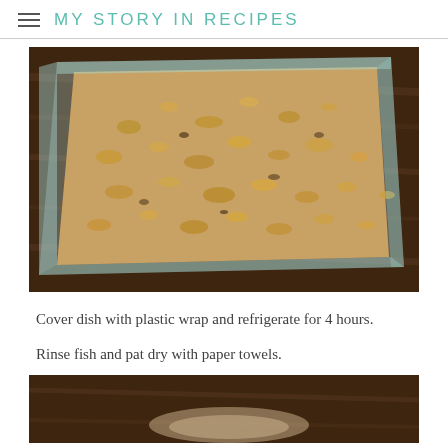MY STORY IN RECIPES
[Figure (photo): A glass baking dish filled with a crumb-topped casserole, placed on a dark wooden surface. The crumb topping is golden-brown and covers the entire top of the dish.]
Cover dish with plastic wrap and refrigerate for 4 hours.
Rinse fish and pat dry with paper towels.
[Figure (photo): Partial view of a food item on a wooden surface, cropped at the bottom of the page.]